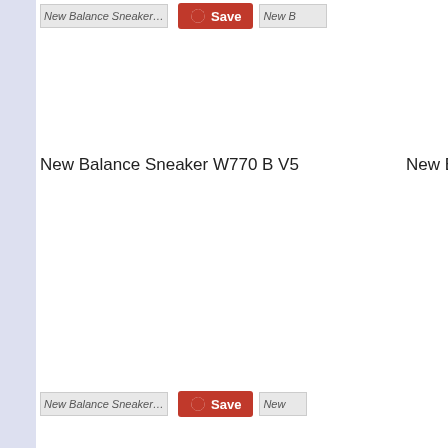[Figure (screenshot): Screenshot of a product listing page showing New Balance sneakers with Pinterest Save buttons. Two product rows visible: New Balance Sneaker W770 B V5 at top and New Balance Sneaker WC996PG2 at bottom. Left sidebar is light blue/lavender. Products show image placeholders (broken images), Save buttons in red with Pinterest icon.]